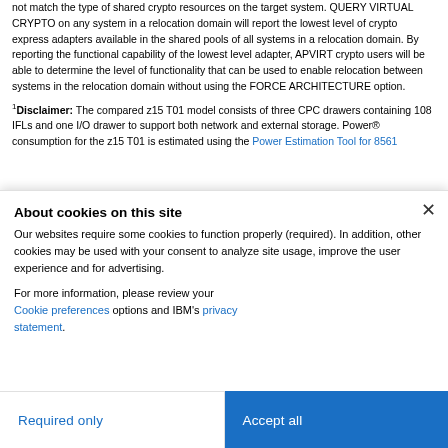not match the type of shared crypto resources on the target system. QUERY VIRTUAL CRYPTO on any system in a relocation domain will report the lowest level of crypto express adapters available in the shared pools of all systems in a relocation domain. By reporting the functional capability of the lowest level adapter, APVIRT crypto users will be able to determine the level of functionality that can be used to enable relocation between systems in the relocation domain without using the FORCE ARCHITECTURE option.
1Disclaimer: The compared z15 T01 model consists of three CPC drawers containing 108 IFLs and one I/O drawer to support both network and external storage. Power® consumption for the z15 T01 is estimated using the Power Estimation Tool for 8561
About cookies on this site
Our websites require some cookies to function properly (required). In addition, other cookies may be used with your consent to analyze site usage, improve the user experience and for advertising.
For more information, please review your Cookie preferences options and IBM's privacy statement.